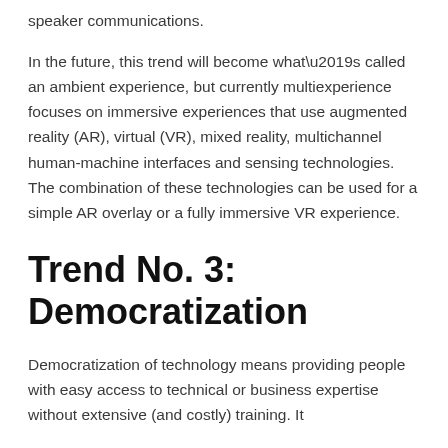speaker communications.
In the future, this trend will become what’s called an ambient experience, but currently multiexperience focuses on immersive experiences that use augmented reality (AR), virtual (VR), mixed reality, multichannel human-machine interfaces and sensing technologies. The combination of these technologies can be used for a simple AR overlay or a fully immersive VR experience.
Trend No. 3: Democratization
Democratization of technology means providing people with easy access to technical or business expertise without extensive (and costly) training. It